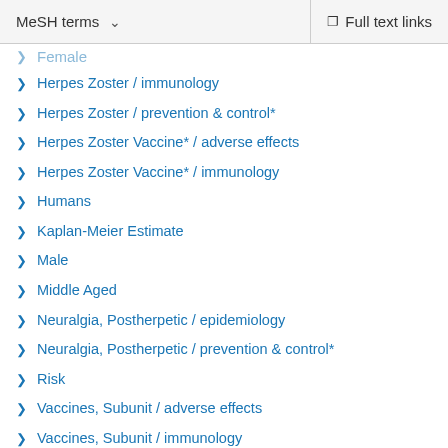MeSH terms  ∨    Full text links
Female
Herpes Zoster / immunology
Herpes Zoster / prevention & control*
Herpes Zoster Vaccine* / adverse effects
Herpes Zoster Vaccine* / immunology
Humans
Kaplan-Meier Estimate
Male
Middle Aged
Neuralgia, Postherpetic / epidemiology
Neuralgia, Postherpetic / prevention & control*
Risk
Vaccines, Subunit / adverse effects
Vaccines, Subunit / immunology
Substances
Herpes Zoster Vaccine